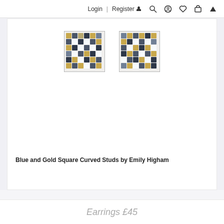Login | Register 🧑 🔍 👤 ♥ 🛍 ▲
[Figure (photo): Two blue and gold mosaic square stud earrings side by side on white background]
Blue and Gold Square Curved Studs by Emily Higham
Earrings £45